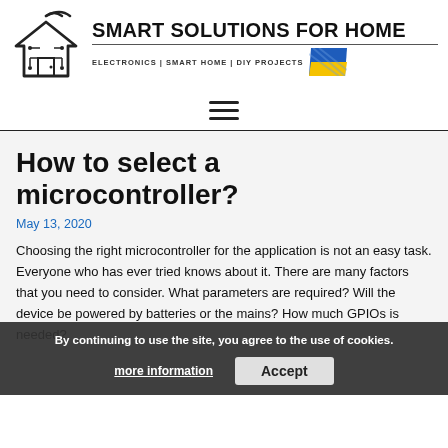[Figure (logo): Smart Solutions for Home logo — house icon with WiFi symbol and circuit board design, alongside bold site title and tagline]
SMART SOLUTIONS FOR HOME — ELECTRONICS | SMART HOME | DIY PROJECTS
How to select a microcontroller?
May 13, 2020
Choosing the right microcontroller for the application is not an easy task. Everyone who has ever tried knows about it. There are many factors that you need to consider. What parameters are required? Will the device be powered by batteries or the mains? How much GPIOs is needed?